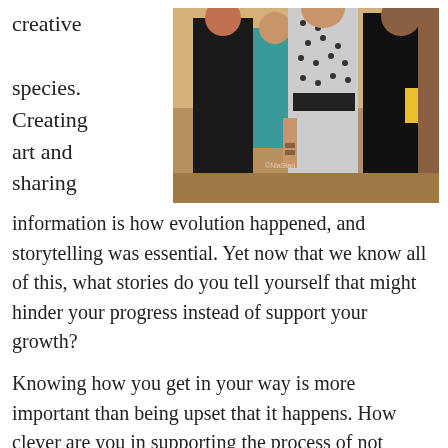creative species. Creating art and sharing information is how evolution happened, and storytelling was essential. Yet now that we know all of this, what stories do you tell yourself that might hinder your progress instead of support your growth?
[Figure (photo): Group of women at what appears to be a dance or movement event, standing together in a room.]
Knowing how you get in your way is more important than being upset that it happens. How clever are you in supporting the process of not getting what you want with your lifestyle,